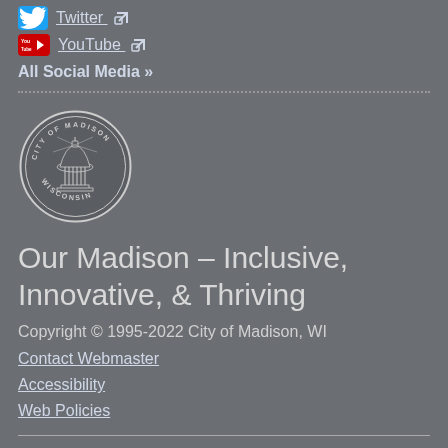Twitter [external link]
YouTube [external link]
All Social Media »
[Figure (logo): City of Madison, Wisconsin circular seal logo with capitol building illustration]
Our Madison – Inclusive, Innovative, & Thriving
Copyright © 1995-2022 City of Madison, WI
Contact Webmaster
Accessibility
Web Policies